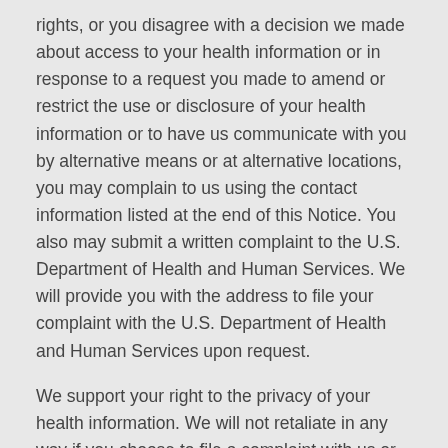rights, or you disagree with a decision we made about access to your health information or in response to a request you made to amend or restrict the use or disclosure of your health information or to have us communicate with you by alternative means or at alternative locations, you may complain to us using the contact information listed at the end of this Notice. You also may submit a written complaint to the U.S. Department of Health and Human Services. We will provide you with the address to file your complaint with the U.S. Department of Health and Human Services upon request.
We support your right to the privacy of your health information. We will not retaliate in any way if you choose to file a complaint with us or with the U.S. Department of Health and Human Services.
Contact Officer: Mark Meunier